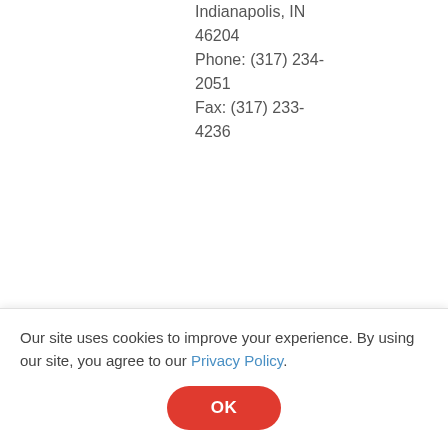Indianapolis, IN 46204
Phone: (317) 234-2051
Fax: (317) 233-4236
| State | Agency/Address | Link |
| --- | --- | --- |
| Iowa | Iowa Dept of Public Health
Lucas State Office Bldg.
321 E 12th Street,
5th Floor | Web Site |
Our site uses cookies to improve your experience. By using our site, you agree to our Privacy Policy.